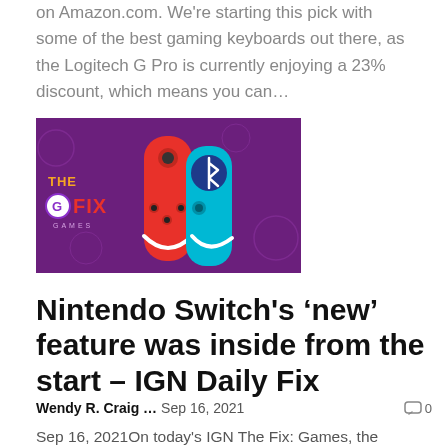on Amazon.com. We're starting this pick with some of the best gaming keyboards out there, as the Logitech G Pro is currently enjoying a 23% discount, which means you can...
[Figure (illustration): Promotional image for IGN The Fix: Games showing two Nintendo Switch Joy-Con controllers (red and teal/blue) against a purple background with the 'THE G FIX GAMES' logo and a Bluetooth symbol]
Nintendo Switch's 'new' feature was inside from the start – IGN Daily Fix
Wendy R. Craig ...   Sep 16, 2021   0
Sep 16, 2021On today's IGN The Fix: Games, the Nintendo Switch can now be paired with a Bluetooth audio device after the latest